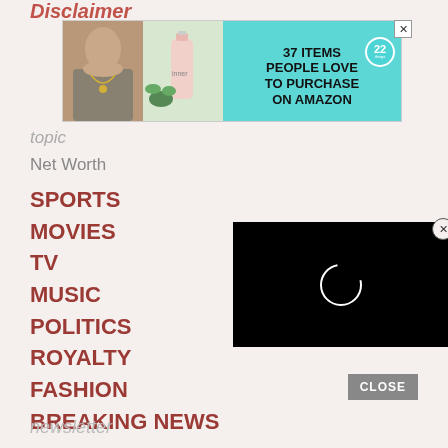Disclaimer
[Figure (photo): Advertisement banner showing two product photos on left and text '37 ITEMS PEOPLE LOVE TO PURCHASE ON AMAZON' with a teal badge showing '22' on right]
topic
Net Worth
SPORTS
MOVIES
TV
MUSIC
POLITICS
ROYALTY
FASHION
BREAKING NEWS
[Figure (screenshot): Video player overlay showing black background with white circular spinner/loading indicator]
CLOSE
newsletter